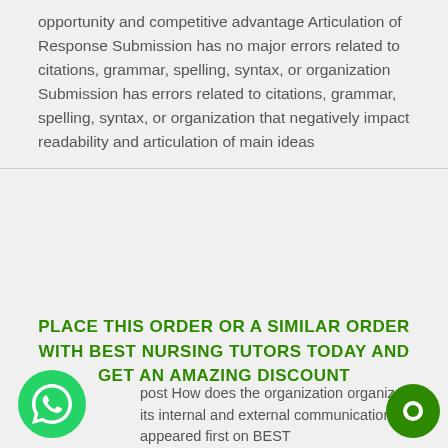opportunity and competitive advantage Articulation of Response Submission has no major errors related to citations, grammar, spelling, syntax, or organization Submission has errors related to citations, grammar, spelling, syntax, or organization that negatively impact readability and articulation of main ideas
PLACE THIS ORDER OR A SIMILAR ORDER WITH BEST NURSING TUTORS TODAY AND GET AN AMAZING DISCOUNT
post How does the organization organize its internal and external communication? appeared first on BEST